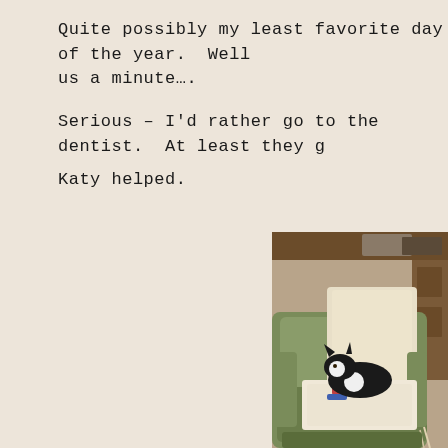Quite possibly my least favorite day of the year.  Well, give us a minute….
Serious – I'd rather go to the dentist.  At least they g…
Katy helped.
[Figure (photo): A black and white cat sitting/lying on a pile of knitting or fabric on the armrest of a green armchair. A cream-colored throw blanket is draped over the back of the chair. The background shows a room with wooden furniture and various items.]